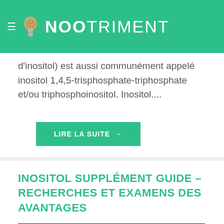NOOTRIMENT
d'inositol) est aussi communément appelé inositol 1,4,5-trisphosphate-triphosphate et/ou triphosphoinositol. Inositol....
LIRE LA SUITE →
INOSITOL SUPPLÉMENT GUIDE – RECHERCHES ET EXAMENS DES AVANTAGES
[Figure (photo): Dark chalkboard background with a hand-drawn lightbulb illustration in white chalk, symbolizing ideas or brain function]